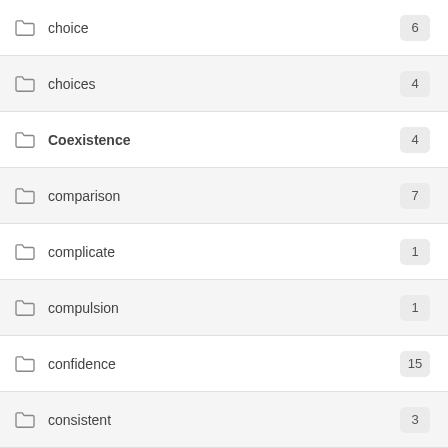choice 6
choices 4
Coexistence 4
comparison 7
complicate 1
compulsion 1
confidence 15
consistent 3